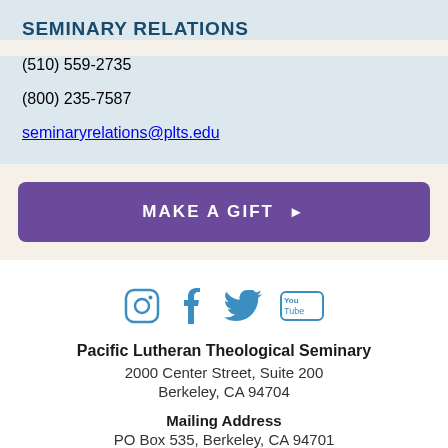SEMINARY RELATIONS
(510) 559-2735
(800) 235-7587
seminaryrelations@plts.edu
MAKE A GIFT ▶
[Figure (illustration): Social media icons: Instagram, Facebook, Twitter, YouTube]
Pacific Lutheran Theological Seminary
2000 Center Street, Suite 200
Berkeley, CA 94704
Mailing Address
PO Box 535, Berkeley, CA 94701